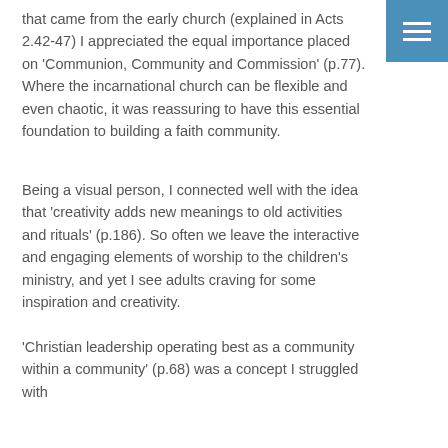that came from the early church (explained in Acts 2.42-47) I appreciated the equal importance placed on 'Communion, Community and Commission' (p.77). Where the incarnational church can be flexible and even chaotic, it was reassuring to have this essential foundation to building a faith community.
Being a visual person, I connected well with the idea that 'creativity adds new meanings to old activities and rituals' (p.186). So often we leave the interactive and engaging elements of worship to the children's ministry, and yet I see adults craving for some inspiration and creativity.
'Christian leadership operating best as a community within a community' (p.68) was a concept I struggled with